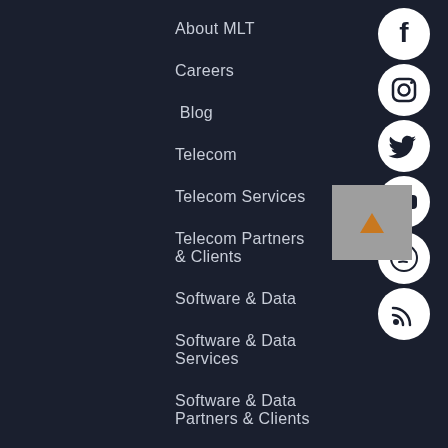About MLT
Careers
Blog
Telecom
Telecom Services
Telecom Partners & Clients
Software & Data
Software & Data Services
Software & Data Partners & Clients
Connect with Us
80 Driscoll
[Figure (infographic): Social media icons column: Facebook, Instagram, Twitter, YouTube, Spotify, RSS feed. Plus a scroll-to-top button with orange arrow.]